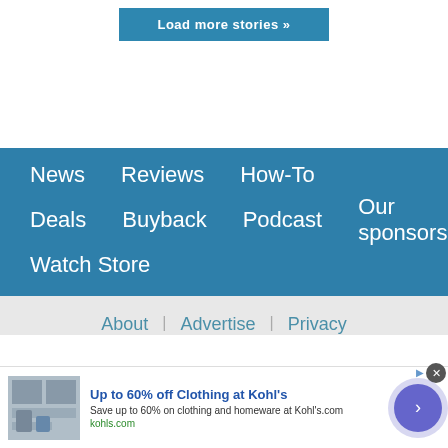Load more stories »
News  Reviews  How-To  Deals  Buyback  Podcast  Our sponsors  Watch Store
About | Advertise | Privacy
[Figure (screenshot): Advertisement banner: Up to 60% off Clothing at Kohl's. Save up to 60% on clothing and homeware at Kohl's.com. kohls.com]